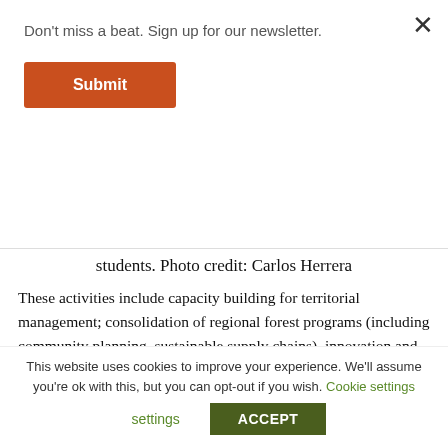Don't miss a beat. Sign up for our newsletter.
Submit
students. Photo credit: Carlos Herrera
These activities include capacity building for territorial management; consolidation of regional forest programs (including community planning, sustainable supply chains), innovation and alignment of legal and political frameworks, participative planning and evaluation of territorial plans and finally monitoring and evaluation of policies.
This website uses cookies to improve your experience. We'll assume you're ok with this, but you can opt-out if you wish. Cookie settings ACCEPT